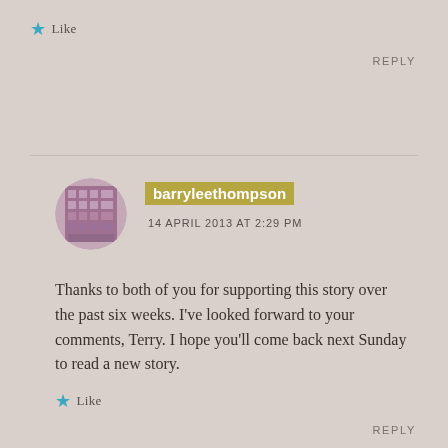★ Like
REPLY
[Figure (photo): Circular avatar image showing a building with grid windows, purple/pink tones]
barryleethompson
14 APRIL 2013 AT 2:29 PM
Thanks to both of you for supporting this story over the past six weeks. I've looked forward to your comments, Terry. I hope you'll come back next Sunday to read a new story.
★ Like
REPLY